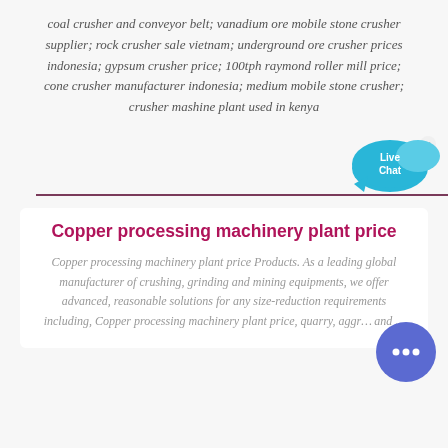coal crusher and conveyor belt; vanadium ore mobile stone crusher supplier; rock crusher sale vietnam; underground ore crusher prices indonesia; gypsum crusher price; 100tph raymond roller mill price; cone crusher manufacturer indonesia; medium mobile stone crusher; crusher mashine plant used in kenya
[Figure (other): Live Chat speech bubble widget in blue/cyan color with 'Live Chat' text and an X close button]
Copper processing machinery plant price
Copper processing machinery plant price Products. As a leading global manufacturer of crushing, grinding and mining equipments, we offer advanced, reasonable solutions for any size-reduction requirements including, Copper processing machinery plant price, quarry, aggr... and ...
[Figure (other): Round blue chat button with three dots (message icon) in bottom right corner]